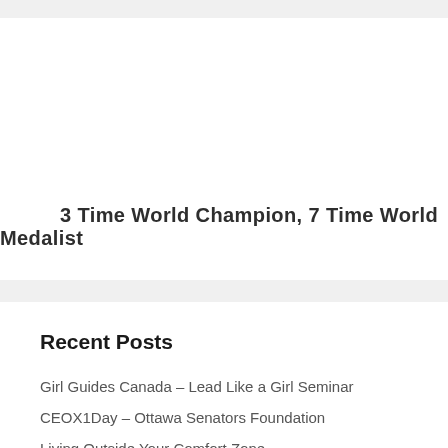3 Time World Champion, 7 Time World Medalist
Recent Posts
Girl Guides Canada – Lead Like a Girl Seminar
CEOX1Day – Ottawa Senators Foundation
Living Outside Your Comfort Zone